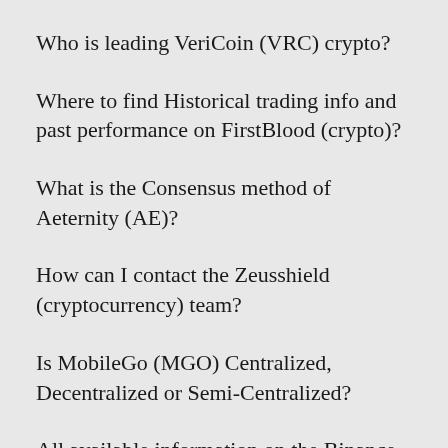Who is leading VeriCoin (VRC) crypto?
Where to find Historical trading info and past performance on FirstBlood (crypto)?
What is the Consensus method of Aeternity (AE)?
How can I contact the Zeusshield (cryptocurrency) team?
Is MobileGo (MGO) Centralized, Decentralized or Semi-Centralized?
All available information on the Binance Coin (BNB) ICO